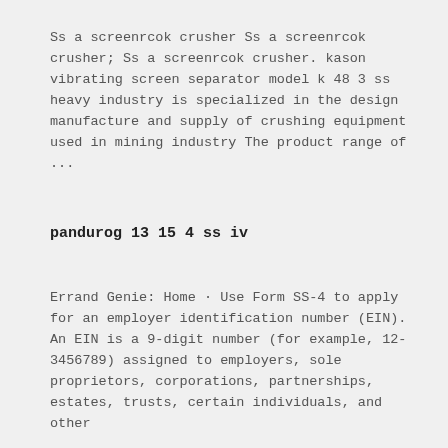Ss a screenrcok crusher Ss a screenrcok crusher; Ss a screenrcok crusher. kason vibrating screen separator model k 48 3 ss heavy industry is specialized in the design manufacture and supply of crushing equipment used in mining industry The product range of ...
pandurog 13 15 4 ss iv
Errand Genie: Home · Use Form SS-4 to apply for an employer identification number (EIN). An EIN is a 9-digit number (for example, 12-3456789) assigned to employers, sole proprietors, corporations, partnerships, estates, trusts, certain individuals, and other